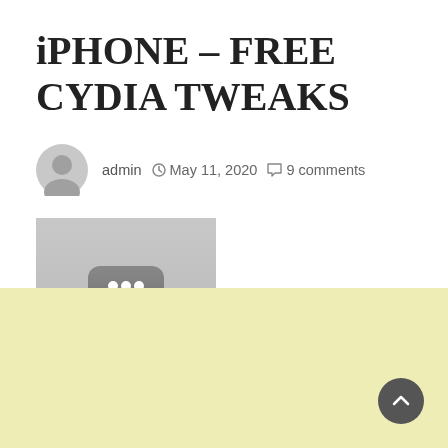iPHONE – FREE CYDIA TWEAKS
admin  May 11, 2020  9 comments
[Figure (screenshot): Thumbnail image placeholder with a light grey background showing a dark rounded rectangle with three white dots (ellipsis icon) in the center.]
[Figure (other): Light yellow/cream colored background banner section at the bottom of the page with a dark grey circular back-to-top arrow button in the bottom right corner.]